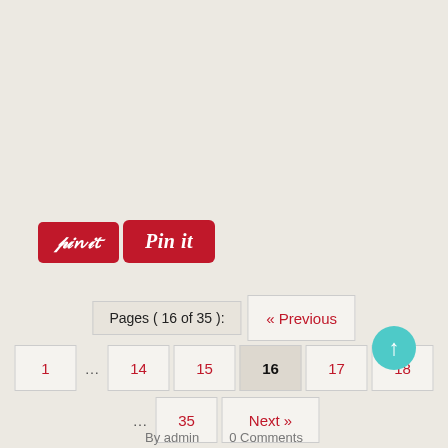[Figure (logo): Pinterest 'Pin it' button — red rounded rectangle with white italic script text 'Pin it']
Pages ( 16 of 35 ):
« Previous
1 … 14 15 16 17 18
… 35 Next »
By admin   0 Comments